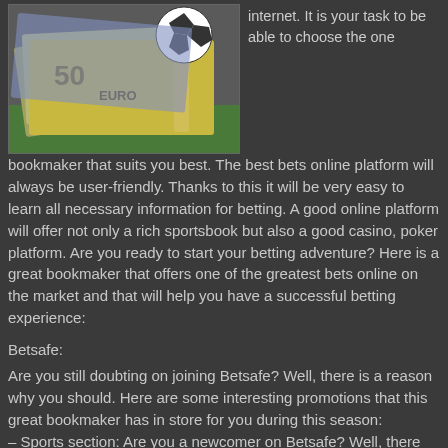[Figure (photo): Photo of Euro banknotes (50 Euro note visible) with a soccer ball in the background on green grass]
internet. It is your task to be able to choose the one bookmaker that suits you best. The best bets online platform will always be user-friendly. Thanks to this it will be very easy to learn all necessary information for betting. A good online platform will offer not only a rich sportsbook but also a good casino, poker platform. Are you ready to start your betting adventure? Here is a great bookmaker that offers one of the greatest bets online on the market and that will help you have a successful betting experience:
Betsafe:
Are you still doubting on joining Betsafe? Well, there is a reason why you should. Here are some interesting promotions that this great bookmaker has in store for you during this season:
– Sports section: Are you a newcomer on Betsafe? Well, there are benefits in store for you on your first registration. Bet with €10 and get an extra €20 Free Bet365 Welcome Bonus. All you have to do is open an account with Betsafe, deposit your money, place bets of €10 on